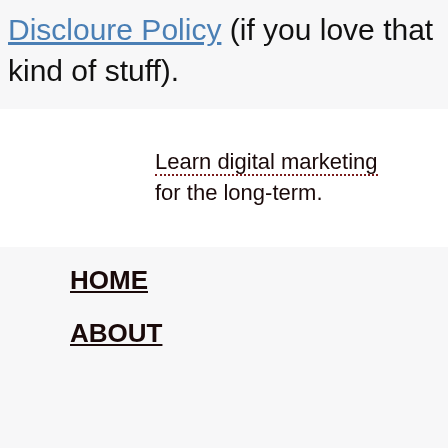Discloure Policy (if you love that kind of stuff).
Learn digital marketing for the long-term.
HOME
ABOUT